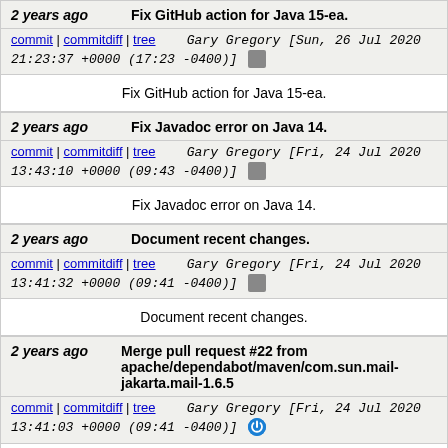2 years ago | Fix GitHub action for Java 15-ea.
commit | commitdiff | tree   Gary Gregory [Sun, 26 Jul 2020 21:23:37 +0000 (17:23 -0400)]
Fix GitHub action for Java 15-ea.
2 years ago | Fix Javadoc error on Java 14.
commit | commitdiff | tree   Gary Gregory [Fri, 24 Jul 2020 13:43:10 +0000 (09:43 -0400)]
Fix Javadoc error on Java 14.
2 years ago | Document recent changes.
commit | commitdiff | tree   Gary Gregory [Fri, 24 Jul 2020 13:41:32 +0000 (09:41 -0400)]
Document recent changes.
2 years ago | Merge pull request #22 from apache/dependabot/maven/com.sun.mail-jakarta.mail-1.6.5
commit | commitdiff | tree   Gary Gregory [Fri, 24 Jul 2020 13:41:03 +0000 (09:41 -0400)]